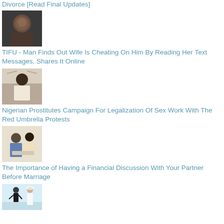Divorce [Read Final Updates]
[Figure (photo): Man looking distressed, close-up face shot]
TIFU - Man Finds Out Wife Is Cheating On Him By Reading Her Text Messages, Shares It Online
[Figure (photo): Woman with hands raised in protest, appears to be at a rally]
Nigerian Prostitutes Campaign For Legalization Of Sex Work With The Red Umbrella Protests
[Figure (photo): Couple looking at documents together, man holding head]
The Importance of Having a Financial Discussion With Your Partner Before Marriage
[Figure (photo): Wedding cake topper showing groom running away from bride]